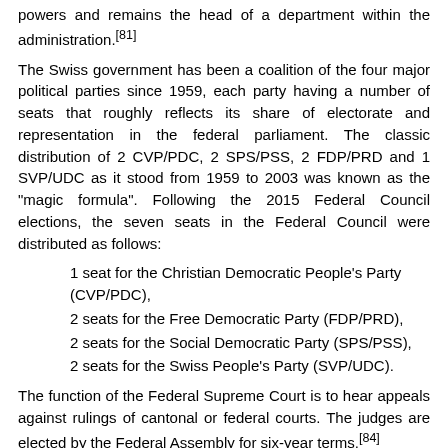powers and remains the head of a department within the administration.[81]
The Swiss government has been a coalition of the four major political parties since 1959, each party having a number of seats that roughly reflects its share of electorate and representation in the federal parliament. The classic distribution of 2 CVP/PDC, 2 SPS/PSS, 2 FDP/PRD and 1 SVP/UDC as it stood from 1959 to 2003 was known as the "magic formula". Following the 2015 Federal Council elections, the seven seats in the Federal Council were distributed as follows:
1 seat for the Christian Democratic People's Party (CVP/PDC),
2 seats for the Free Democratic Party (FDP/PRD),
2 seats for the Social Democratic Party (SPS/PSS),
2 seats for the Swiss People's Party (SVP/UDC).
The function of the Federal Supreme Court is to hear appeals against rulings of cantonal or federal courts. The judges are elected by the Federal Assembly for six-year terms.[84]
Direct democracy   [edit]
Main article: Voting in Switzerland